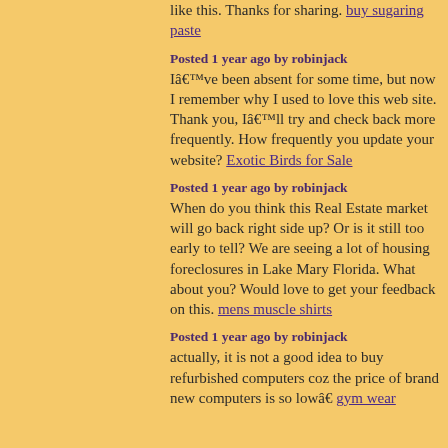like this. Thanks for sharing. buy sugaring paste
Posted 1 year ago by robinjack
Iâ€™ve been absent for some time, but now I remember why I used to love this web site. Thank you, Iâ€™ll try and check back more frequently. How frequently you update your website? Exotic Birds for Sale
Posted 1 year ago by robinjack
When do you think this Real Estate market will go back right side up? Or is it still too early to tell? We are seeing a lot of housing foreclosures in Lake Mary Florida. What about you? Would love to get your feedback on this. mens muscle shirts
Posted 1 year ago by robinjack
actually, it is not a good idea to buy refurbished computers coz the price of brand new computers is so lowâ€ gym wear